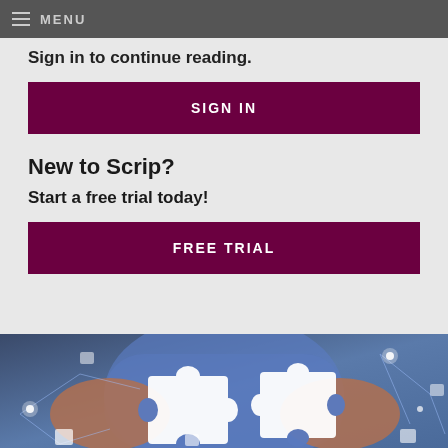MENU
Sign in to continue reading.
SIGN IN
New to Scrip?
Start a free trial today!
FREE TRIAL
[Figure (photo): Two hands holding white puzzle pieces against a blue background with network/technology light lines and additional puzzle piece elements scattered around]